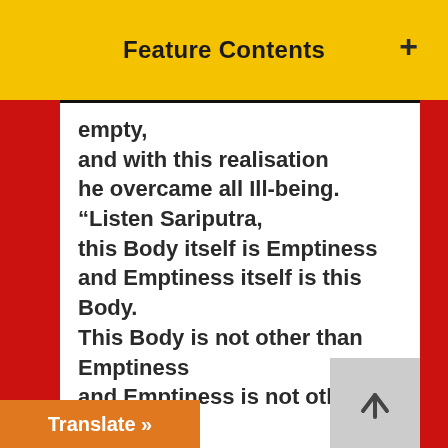Feature Contents
empty,
and with this realisation
he overcame all Ill-being.
“Listen Sariputra,
this Body itself is Emptiness
and Emptiness itself is this Body.
This Body is not other than Emptiness
and Emptiness is not other than this Body.
The same is true of Feelings, Perceptions, Mental Formations, and Consciousness.
“Listen Sariputra